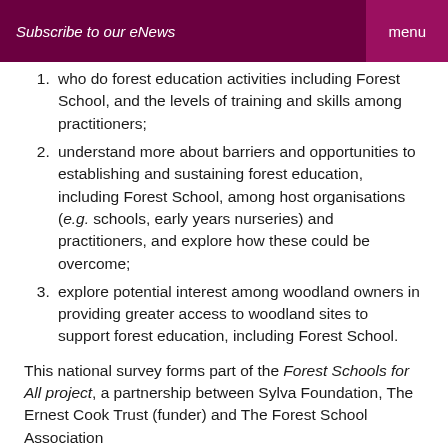Subscribe to our eNews    menu
who do forest education activities including Forest School, and the levels of training and skills among practitioners;
understand more about barriers and opportunities to establishing and sustaining forest education, including Forest School, among host organisations (e.g. schools, early years nurseries) and practitioners, and explore how these could be overcome;
explore potential interest among woodland owners in providing greater access to woodland sites to support forest education, including Forest School.
This national survey forms part of the Forest Schools for All project, a partnership between Sylva Foundation, The Ernest Cook Trust (funder) and The Forest School Association
Chief Executive of Sylva Foundation, Dr Gabriel Hemery, said: